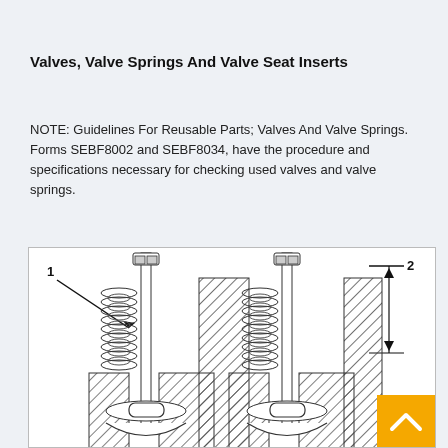Valves, Valve Springs And Valve Seat Inserts
NOTE: Guidelines For Reusable Parts; Valves And Valve Springs. Forms SEBF8002 and SEBF8034, have the procedure and specifications necessary for checking used valves and valve springs.
[Figure (engineering-diagram): Cross-sectional engineering diagram of valves and valve springs assembly showing two valve assemblies with springs (labeled 1) and a dimension indicator (labeled 2) on the right side indicating a measurement between two reference lines.]